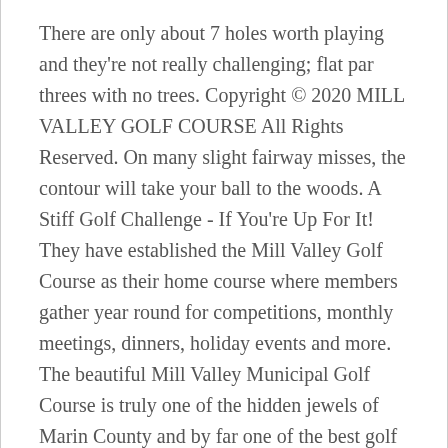There are only about 7 holes worth playing and they're not really challenging; flat par threes with no trees. Copyright © 2020 MILL VALLEY GOLF COURSE All Rights Reserved. On many slight fairway misses, the contour will take your ball to the woods. A Stiff Golf Challenge - If You're Up For It! They have established the Mill Valley Golf Course as their home course where members gather year round for competitions, monthly meetings, dinners, holiday events and more. The beautiful Mill Valley Municipal Golf Course is truly one of the hidden jewels of Marin County and by far one of the best golf deals around! Tee boxes and many fairways were dry, cracked, and not maintained. Earn reward points good toward future tee times. The Mill Valley Golf Course has been owned and run by the city for more than 80 years. Perched 200 feet above the fairway below,